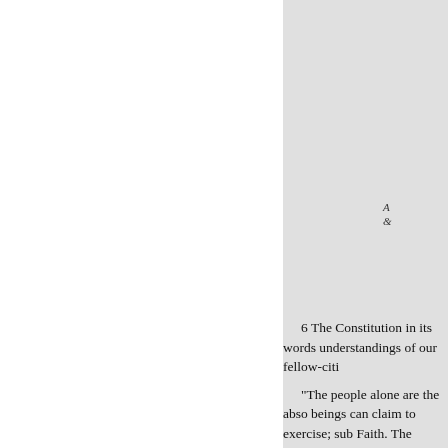[Figure (other): Gray panel / sidebar area on the right half of the page with partially visible italic text in the upper right corner]
6 The Constitution in its words understandings of our fellow-citi
“The people alone are the abso beings can claim to exercise; sub Faith. The moral law is out of its humblest individual.
“Yield away the Constitution a claim one portion of the past as p
Our Union is not merely a bles of existence which is worth havi